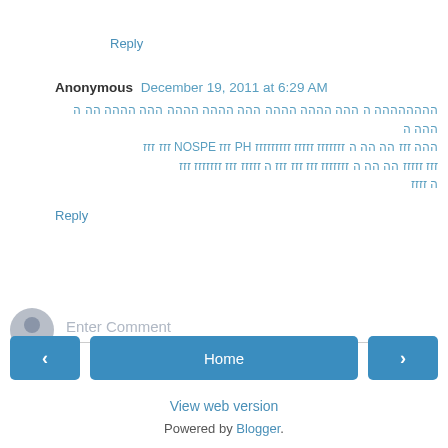Reply
Anonymous December 19, 2011 at 6:29 AM
Comment text in Arabic/RTL script mentioning HP and EPSON
Reply
Enter Comment
< Home >
View web version
Powered by Blogger.